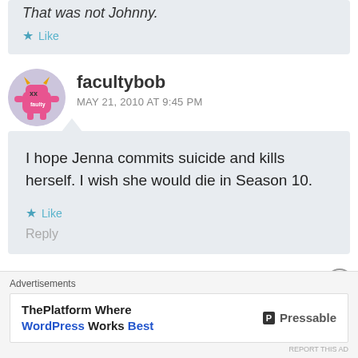That was not Johnny.
Like
facultybob
MAY 21, 2010 AT 9:45 PM
I hope Jenna commits suicide and kills herself. I wish she would die in Season 10.
Like
Reply
Advertisements
ThePlatform Where WordPress Works Best
Pressable